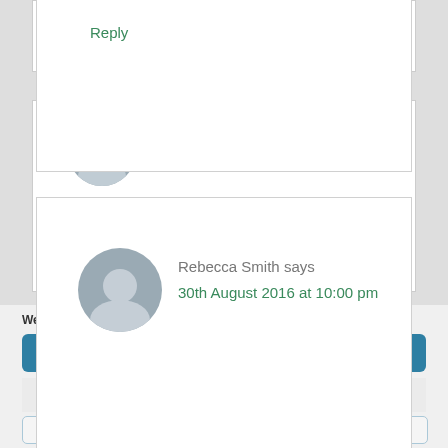Reply
Rebecca Smith says
30th August 2016 at 10:00 pm
We use cookies to optimise our website and our service.
Accept
Dismiss
Preferences